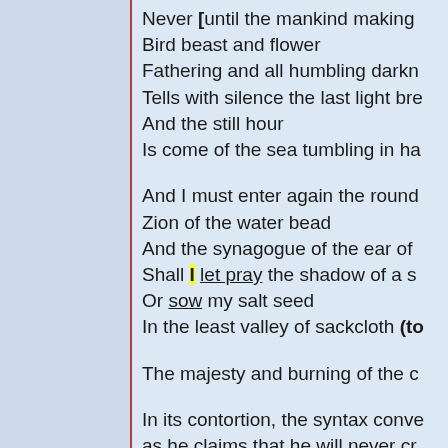Never [until the mankind making
Bird beast and flower
Fathering and all humbling darkn
Tells with silence the last light bre
And the still hour
Is come of the sea tumbling in ha
And I must enter again the round
Zion of the water bead
And the synagogue of the ear of
Shall I let pray the shadow of a s
Or sow my salt seed
In the least valley of sackcloth (to
The majesty and burning of the c
In its contortion, the syntax conve as he claims that he will never cr generated the expression.  Let's predicate phase of the sentence: